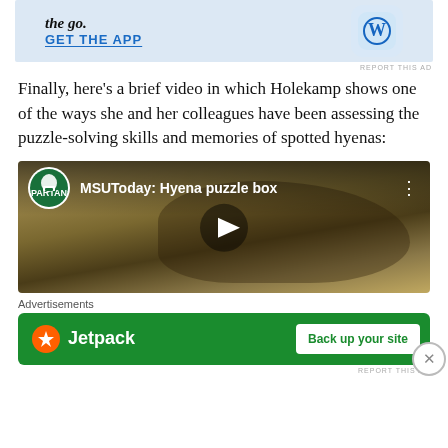[Figure (screenshot): Top advertisement banner with 'the go.' text, GET THE APP link, and WordPress app icon on light blue background]
REPORT THIS AD
Finally, here's a brief video in which Holekamp shows one of the ways she and her colleagues have been assessing the puzzle-solving skills and memories of spotted hyenas:
[Figure (screenshot): Embedded YouTube video thumbnail showing a spotted hyena in grass with title 'MSUToday: Hyena puzzle box' and MSU Spartans Will channel logo, with play button overlay]
Advertisements
[Figure (screenshot): Jetpack advertisement banner on green background with 'Back up your site' button and close X button]